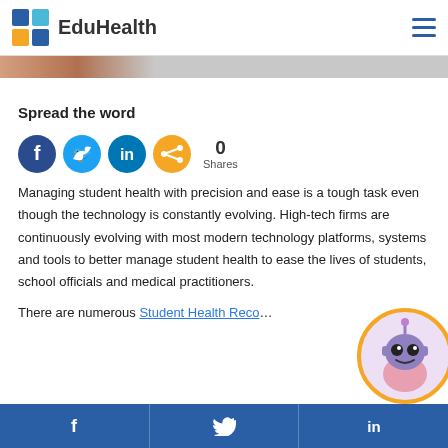EduHealth
[Figure (illustration): Partial hero image strip showing a face/person cropped at top]
Spread the word
[Figure (infographic): Social share icons: Facebook (dark blue circle), Twitter (light blue circle), LinkedIn (teal circle), Share (orange circle), with count 0 Shares]
Managing student health with precision and ease is a tough task even though the technology is constantly evolving. High-tech firms are continuously evolving with most modern technology platforms, systems and tools to better manage student health to ease the lives of students, school officials and medical practitioners.
There are numerous Student Health Record softwa…
[Figure (illustration): Robot chatbot mascot in circular frame with orange border]
f  Twitter  in